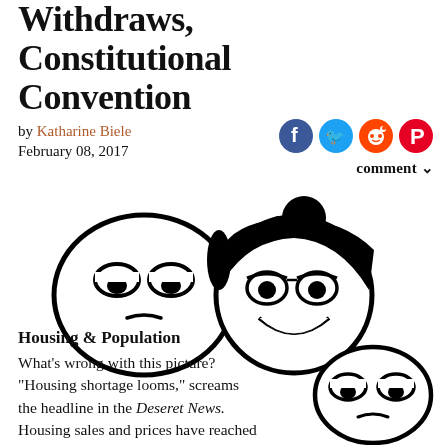Withdraws, Constitutional Convention
by Katharine Biele
February 08, 2017
[Figure (illustration): Two cartoon face illustrations: a bored/skeptical round face on the left and a smiling girl face with hair bun on the right, both in black and white line art]
Housing & Population
What's wrong with this picture? "Housing shortage looms," screams the headline in the Deseret News. Housing sales and prices have reached historic highs, but the impact—oh, it could be bad. Prices are going up and there's just not enough houses
[Figure (illustration): Single bored/skeptical round cartoon face in black and white line art, positioned to the right of the body text]